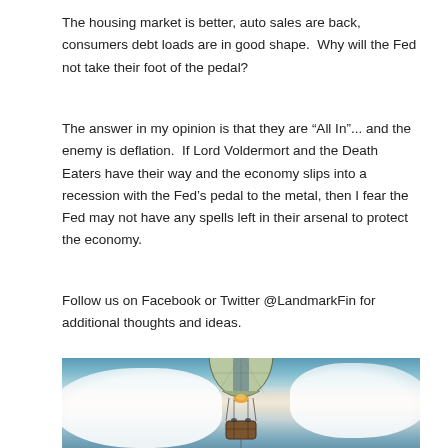The housing market is better, auto sales are back, consumers debt loads are in good shape.  Why will the Fed not take their foot of the pedal?
The answer in my opinion is that they are "All In"... and the enemy is deflation.  If Lord Voldermort and the Death Eaters have their way and the economy slips into a recession with the Fed's pedal to the metal, then I fear the Fed may not have any spells left in their arsenal to protect the economy.
Follow us on Facebook or Twitter @LandmarkFin for additional thoughts and ideas.
[Figure (illustration): Vintage-style illustration of a hot air balloon with a globe-patterned envelope ascending through white clouds against a teal sky. A basket with passengers hangs below.]